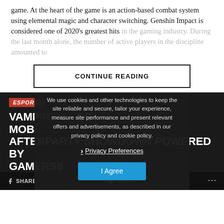game. At the heart of the game is an action-based combat system using elemental magic and character switching. Genshin Impact is considered one of 2020's greatest hits in the gaming industry. During the last month alone, the number of active players in the discipline amounted to
CONTINUE READING
ESPORTS
VAMPIRES... BG MOBI... AFTERPARTY SHOWDOWN POWERED BY GAMERS8
We value your privacy
We use cookies and other technologies to keep the site reliable and secure, tailor your experience, measure site performance and present relevant offers and advertisements, as described in our privacy policy and cookie policy.
Privacy Preferences
I Agree
SHARE
TWEET